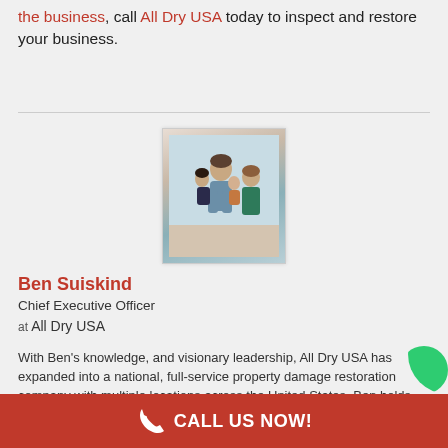the business, call All Dry USA today to inspect and restore your business.
[Figure (photo): Family photo of Ben Suiskind with his wife and two young children, posed together]
Ben Suiskind
Chief Executive Officer
at All Dry USA
With Ben's knowledge, and visionary leadership, All Dry USA has expanded into a national, full-service property damage restoration company with multiple locations across the United States. Ben holds numerous specialty licenses and certifications in restoration and construction.
CALL US NOW!